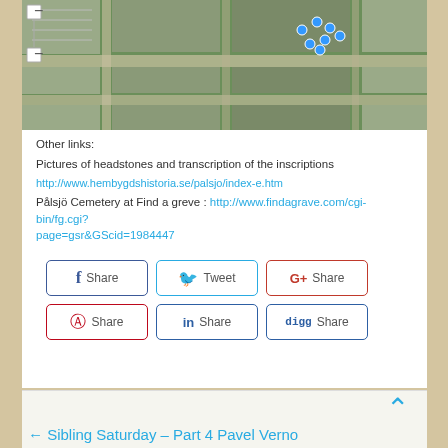[Figure (map): Aerial satellite view of Pålsjö Cemetery with blue pin markers indicating grave locations, zoom controls on left side]
Other links:
Pictures of headstones and transcription of the inscriptions
http://www.hembygdshistoria.se/palsjo/index-e.htm
Pålsjö Cemetery at Find a greve : http://www.findagrave.com/cgi-bin/fg.cgi?page=gsr&GScid=1984447
[Figure (infographic): Six social sharing buttons: Facebook Share, Twitter Tweet, Google+ Share, Pinterest Share, LinkedIn Share, Digg Share]
← Sibling Saturday – Part 4 Pavel Verno